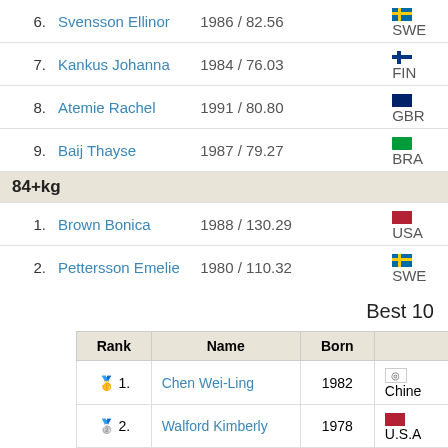| # | Name | Born / Score | Country |
| --- | --- | --- | --- |
| 6. | Svensson Ellinor | 1986 / 82.56 | SWE |
| 7. | Kankus Johanna | 1984 / 76.03 | FIN |
| 8. | Atemie Rachel | 1991 / 80.80 | GBR |
| 9. | Baij Thayse | 1987 / 79.27 | BRA |
| 84+kg |  |  |  |
| 1. | Brown Bonica | 1988 / 130.29 | USA |
| 2. | Pettersson Emelie | 1980 / 110.32 | SWE |
| 3. | Su Fang-Yun | 1992 / 113.68 | TPE |
| 4. | Mesheryakova Tatyana | 1974 / 95.70 | RUS |
| 5. | Chang Ya-Wen | 1984 / 91.59 | TPE |
| 6. | Khoury Najat | 1982 / 123.56 | AUS |
| 7. | Ananiadou Eytyhia | 1987 / 90.30 | GRE |
| 8. | Reitmann Judith | 1967 / 93.43 | URU |
| 9. | Nokua Katariina | 1973 / 101.74 | FIN |
| 10. | Macnab Anna | 1984 / 105.92 | GBR |
| 11. | De Joux Ana | 1979 / 101.84 | NZL |
| 12. | Bitterova Zuzana | 1984 / 103.29 | CZE |
Best 10
| Rank | Name | Born |  |
| --- | --- | --- | --- |
| 🥇 1. | Chen Wei-Ling | 1982 | Chinese... |
| 🥈 2. | Walford Kimberly | 1978 | U.S.A... |